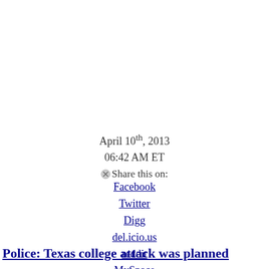April 10th, 2013
06:42 AM ET
Share this on:
Facebook
Twitter
Digg
del.icio.us
reddit
MySpace
StumbleUpon
Comments (17 comments)
Police: Texas college attack was planned